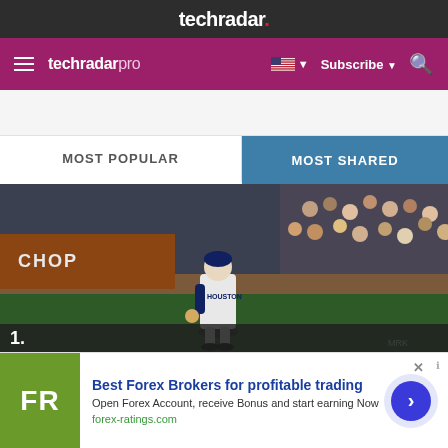techradar.
techradar pro  Subscribe
MOST POPULAR
MOST SHARED
[Figure (photo): Baseball player in Houston Astros uniform pitching on field, crowd in background, 'CHOP' sign visible, number 325 marker on outfield wall]
Best Forex Brokers for profitable trading
Open Forex Account, receive Bonus and start earning Now
forex-ratings.com